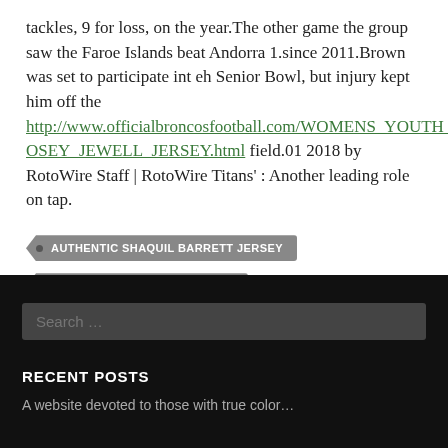tackles, 9 for loss, on the year.The other game the group saw the Faroe Islands beat Andorra 1.since 2011.Brown was set to participate int eh Senior Bowl, but injury kept him off the http://www.officialbroncosfootball.com/WOMENS_YOUTH_JOSEY_JEWELL_JERSEY.html field.01 2018 by RotoWire Staff | RotoWire Titans' : Another leading role on tap.
AUTHENTIC SHAQUIL BARRETT JERSEY
JOSEY JEWELL YOUTH JERSEY
Search ...
RECENT POSTS
A website devoted to those with true color...